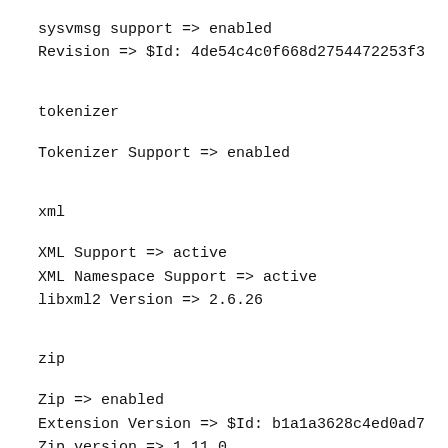sysvmsg support => enabled
Revision => $Id: 4de54c4c0f668d2754472253f3
tokenizer
Tokenizer Support => enabled
xml
XML Support => active
XML Namespace Support => active
libxml2 Version => 2.6.26
zip
Zip => enabled
Extension Version => $Id: b1a1a3628c4ed0ad7
Zip version => 1.11.0
Libzip version => 0.10.1